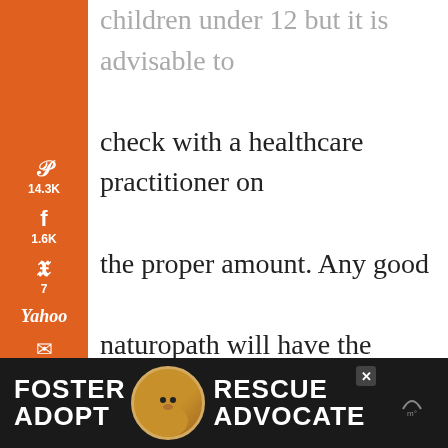children under 12 but it is advisable to check with a healthcare practitioner on the proper amount. Any good naturopath will have the information at the ready. (Starting at 12 months of age, gave my daughter 1-2 teaspoons per day and she weighed about 16 pounds at that time.) You can also find more detailed information on how much
[Figure (screenshot): Social sharing sidebar with orange background showing Pinterest (14.3K), Facebook (1.6K), Twitter (7), Yahoo, Email, and Print icons with counts]
[Figure (screenshot): Share button (circular white button with share icon) floating on the right side of the page]
[Figure (screenshot): Advertisement banner at bottom: FOSTER ADOPT / RESCUE ADVOCATE with dog image on dark background]